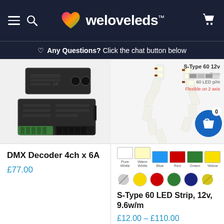weloveleds™
Any Questions? Click the chat button below
[Figure (photo): DMX Decoder 4ch x 6A product photo showing two black electronic decoder units with green terminal connectors]
DMX Decoder 4ch x 6A
£77.00
[Figure (photo): S-Type 60 LED Strip 12v product photo showing flexible LED strip with S-type shape, 6mm wide, 60 LED per meter, flexible on 2 axis. Color swatches shown: Pure White, Warm White, Blue, Red, Green, Yellow]
S-Type 60 LED Strip, 12v, 9.6w/m
£12.00 – £110.00